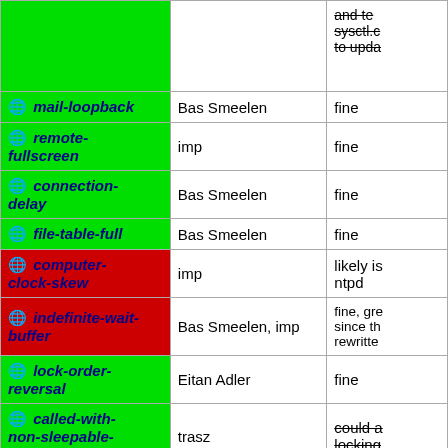| Feature | Assignee | Status |
| --- | --- | --- |
| (globe) mail-loopback | Bas Smeelen | fine |
| (globe) remote-fullscreen | imp | fine |
| (globe) connection-delay | Bas Smeelen | fine |
| (globe) file-table-full | Bas Smeelen | fine |
| (globe) computer-clock-skew | imp | likely is ntpd |
| (globe) indefinite-wait-buffer | Bas Smeelen, imp | fine, gre since th rewritte |
| (globe) lock-order-reversal | Eitan Adler | fine |
| (globe) called-with-non-sleepable-locks-held | trasz | could a locking |
| (globe) touch-not-found | Eitan Adler | fine |